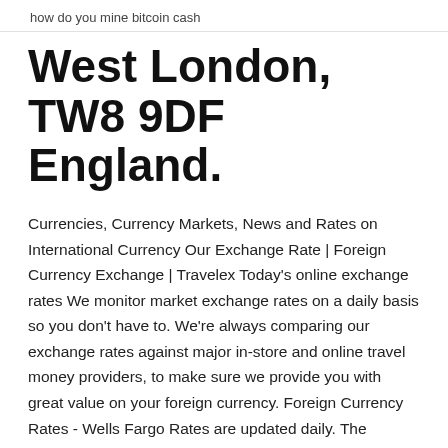how do you mine bitcoin cash
West London, TW8 9DF England.
Currencies, Currency Markets, News and Rates on International Currency Our Exchange Rate | Foreign Currency Exchange | Travelex Today's online exchange rates We monitor market exchange rates on a daily basis so you don't have to. We're always comparing our exchange rates against major in-store and online travel money providers, to make sure we provide you with great value on your foreign currency. Foreign Currency Rates - Wells Fargo Rates are updated daily. The Currency Calculator is meant to assist customers who intend to order foreign currency from our website to be delivered in the form of physical cash. It is not intended to be used as a reference for exchange rates applied to incoming and outgoing wires or checks denominated in a foreign currency. View FAQs Euro Currency Exchange Rate Today Oct 30, 2019 · Euro Currency